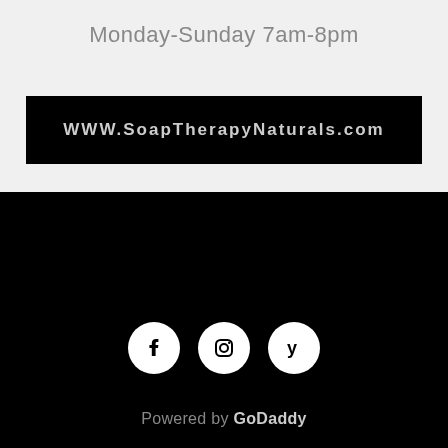Monday-Sunday 7am-8pm
WWW.SoapTherapyNaturals.com
[Figure (other): Social media icons: Facebook, Instagram, Yelp — white circles on black background]
Powered by GoDaddy